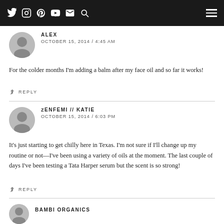Navigation bar with social icons and menu
ALEX
OCTOBER 15, 2014 / 4:45 AM

For the colder months I'm adding a balm after my face oil and so far it works!
REPLY
ZENFEMI // KATIE
OCTOBER 15, 2014 / 6:03 PM

It's just starting to get chilly here in Texas. I'm not sure if I'll change up my routine or not—I've been using a variety of oils at the moment. The last couple of days I've been testing a Tata Harper serum but the scent is so strong!
REPLY
BAMBI ORGANICS